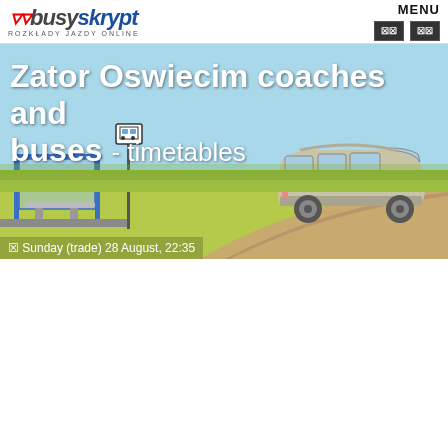rozklady jazdy online | MENU
Zator Oswiecim coaches and buses - timetables
[Figure (illustration): Illustrated banner showing a bus stop shelter on the left with a bus stop sign, and a minivan/coach on a road on the right, with green grass and a light blue sky background.]
☒ Sunday (trade) 28 August, 22:35